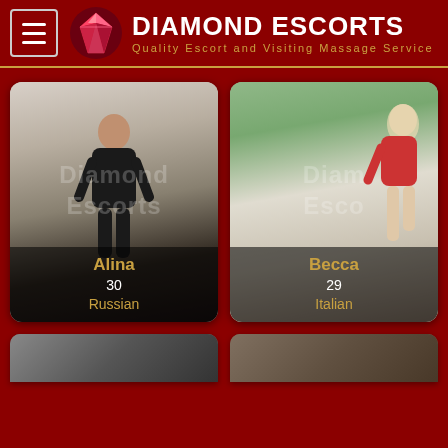Diamond Escorts — Quality Escort and Visiting Massage Service
[Figure (photo): Card for Alina, age 30, Russian — woman in black lingerie and boots posing in studio]
Alina
30
Russian
[Figure (photo): Card for Becca, age 29, Italian — blonde woman in red bikini posing outdoors]
Becca
29
Italian
[Figure (photo): Two partially visible card thumbnails at bottom of page]